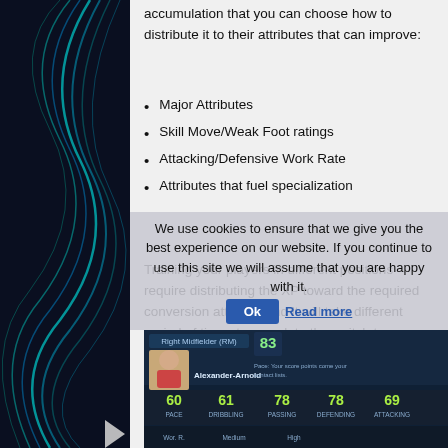accumulation that you can choose how to distribute it to their attributes that can improve:
Major Attributes
Skill Move/Weak Foot ratings
Attacking/Defensive Work Rate
Attributes that fuel specialization
Training your players in different positions require distributing the XP toward the required conversion attribute and it will take different period of times to complete the switch to a certain position. For example if you wish to convert Trent Alexander-Arnold from RB to RM, it will take little over 7 months, on the other hand if you wish to train him as a CB it will take you nearly three years to complete the conversion!
We use cookies to ensure that we give you the best experience on our website. If you continue to use this site we will assume that you are happy with it.
[Figure (screenshot): In-game screenshot of a player card showing Alexander-Arnold as Right Midfielder (RM) with stats: PACE 60, DRIBBLING 61, PASSING 78, DEFENDING 78, ATTACKING 69, and PHYSICAL attributes shown on a dark blue background.]